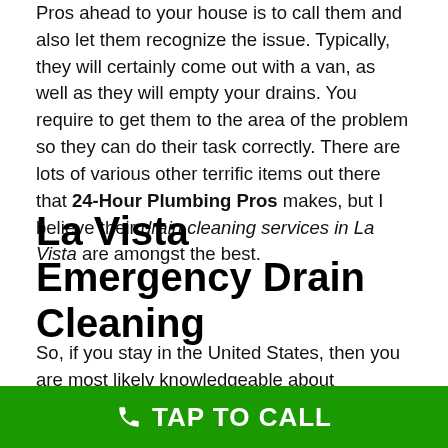Pros ahead to your house is to call them and also let them recognize the issue. Typically, they will certainly come out with a van, as well as they will empty your drains. You require to get them to the area of the problem so they can do their task correctly. There are lots of various other terrific items out there that 24-Hour Plumbing Pros makes, but I believe their drain cleaning services in La Vista are amongst the best.
La Vista Emergency Drain Cleaning
So, if you stay in the United States, then you are most likely knowledgeable about emergency drain cleaning. These are places where a sewer pipe or drain unexpectedly fractures or gets clogged. In several instances, this is caused by a broken pipe or a partially blocked pipe. When this occurs, there is no warning or
TAP TO CALL